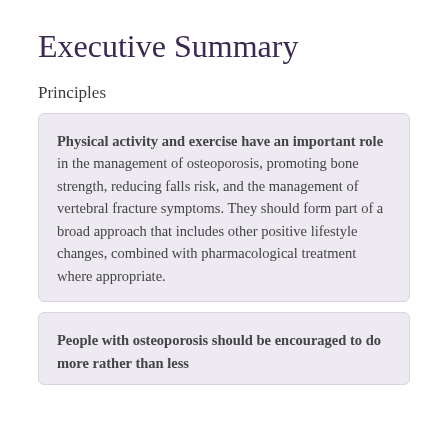Executive Summary
Principles
Physical activity and exercise have an important role in the management of osteoporosis, promoting bone strength, reducing falls risk, and the management of vertebral fracture symptoms. They should form part of a broad approach that includes other positive lifestyle changes, combined with pharmacological treatment where appropriate.
People with osteoporosis should be encouraged to do more rather than less